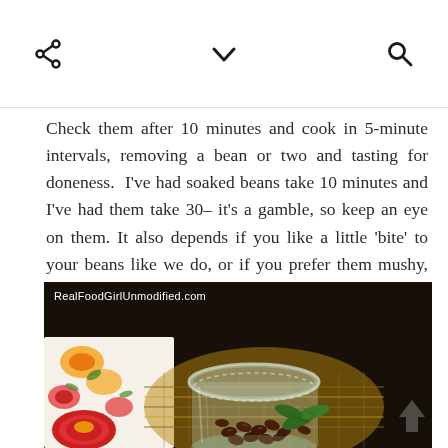[ share icon ]  [ chevron down icon ]  [ search icon ]
Check them after 10 minutes and cook in 5-minute intervals, removing a bean or two and tasting for doneness.  I’ve had soaked beans take 10 minutes and I’ve had them take 30– it’s a gamble, so keep an eye on them. It also depends if you like a little ‘bite’ to your beans like we do, or if you prefer them mushy, like canned beans.
[Figure (photo): A glass jar filled with dark red/black beans, sitting in a decorative woven basket, with a colorful floral-patterned cloth and red/yellow ceramic dishes in the background. Watermark reads RealFoodGirlUnmodified.com]